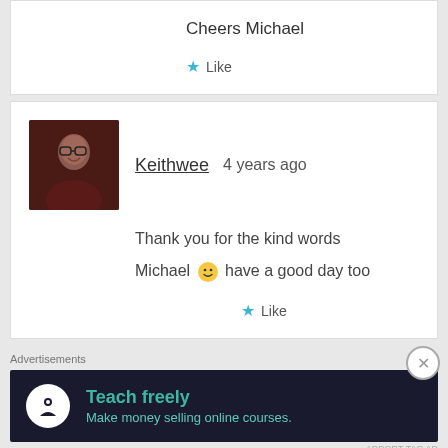Cheers Michael
Like
[Figure (photo): Avatar photo of user Keithwee, person wearing glasses]
Keithwee   4 years ago
Thank you for the kind words Michael 🙂 have a good day too
Like
Advertisements
[Figure (logo): Teach freely ad banner - dark background with tree/person icon, text: Teach freely, Make money selling online courses.]